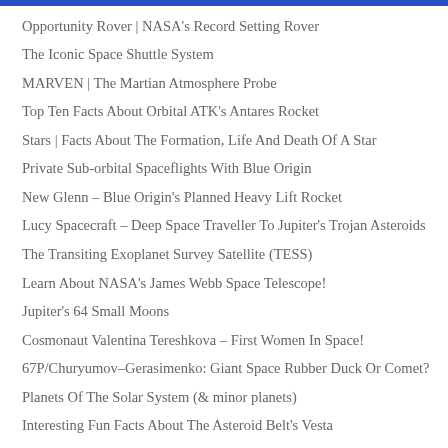Opportunity Rover | NASA's Record Setting Rover
The Iconic Space Shuttle System
MARVEN | The Martian Atmosphere Probe
Top Ten Facts About Orbital ATK's Antares Rocket
Stars | Facts About The Formation, Life And Death Of A Star
Private Sub-orbital Spaceflights With Blue Origin
New Glenn – Blue Origin's Planned Heavy Lift Rocket
Lucy Spacecraft – Deep Space Traveller To Jupiter's Trojan Asteroids
The Transiting Exoplanet Survey Satellite (TESS)
Learn About NASA's James Webb Space Telescope!
Jupiter's 64 Small Moons
Cosmonaut Valentina Tereshkova – First Women In Space!
67P/Churyumov–Gerasimenko: Giant Space Rubber Duck Or Comet?
Planets Of The Solar System (& minor planets)
Interesting Fun Facts About The Asteroid Belt's Vesta
Oberon – Uranus' Outermost Major Moon